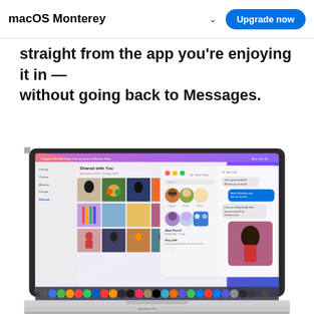macOS Monterey  ⌵  Upgrade now
Apple TV app, you can easily find shared content, see who recommended it and enjoy it straight from the app you're enjoying it in — without going back to Messages.
[Figure (screenshot): MacBook Pro showing macOS Monterey with Photos app open displaying 'Shared with You' feature and a Messages conversation panel on the right side, with a grid of shared photos visible.]